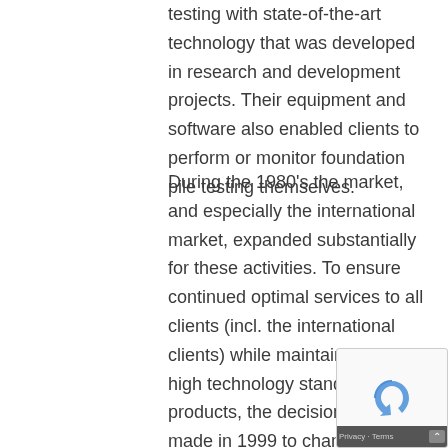testing with state-of-the-art technology that was developed in research and development projects. Their equipment and software also enabled clients to perform or monitor foundation pile testing themselves.
During the 1980's the market, and especially the international market, expanded substantially for these activities. To ensure continued optimal services to all clients (incl. the international clients) while maintaining the high technology standards of the products, the decision was made in 1999 to change the department to a fully owned subsidiary of TNO. This subsidiary was called Profound (PROfessional FOUNdation Diagnostics), which was split off from the TNO organization